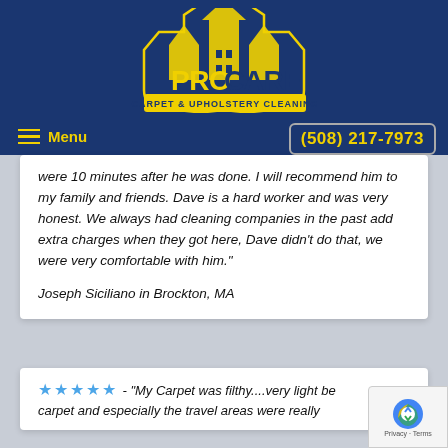[Figure (logo): ProCare Carpet & Upholstery Cleaning logo with house/building silhouette in yellow on navy background]
Menu
(508) 217-7973
were 10 minutes after he was done. I will recommend him to my family and friends. Dave is a hard worker and was very honest. We always had cleaning companies in the past add extra charges when they got here, Dave didn't do that, we were very comfortable with him."
Joseph Siciliano in Brockton, MA
★★★★★ - "My Carpet was filthy....very light be carpet and especially the travel areas were really